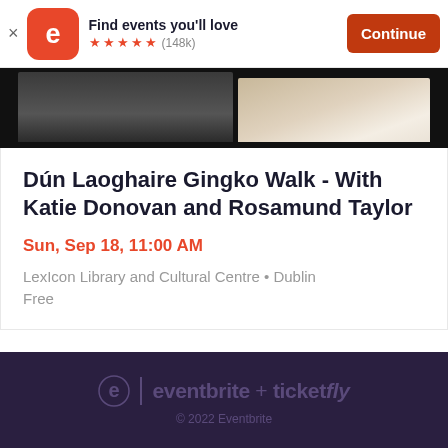Find events you'll love ★★★★★ (148k) Continue
[Figure (photo): Event banner photo showing two people, partially visible, dark background on left portion and lighter on right portion]
Dún Laoghaire Gingko Walk - With Katie Donovan and Rosamund Taylor
Sun, Sep 18, 11:00 AM
LexIcon Library and Cultural Centre • Dublin
Free
eventbrite + ticketfly © 2022 Eventbrite